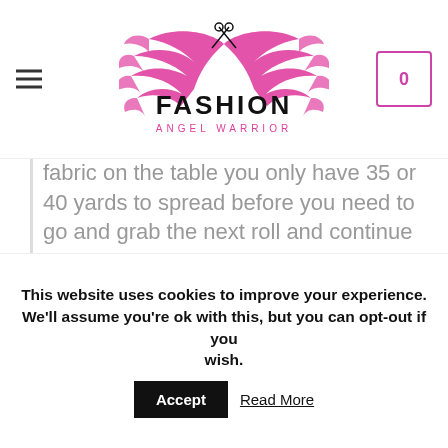[Figure (logo): Fashion Angel Warrior logo with pink wings and scissors, text FASHION ANGEL WARRIOR in pink and black]
fabric on the table you only have 35 or 40 yards to spread before you need to go and grab the next roll and continue spreading. Let's say your marker has a total yield of 9 yards. Nine is not easily divided by 35 or 40 so you're going to be short about 2 to 3 pieces for each roll. You're going to tack on an extra 10 pieces because you're
This website uses cookies to improve your experience. We'll assume you're ok with this, but you can opt-out if you wish. Accept Read More